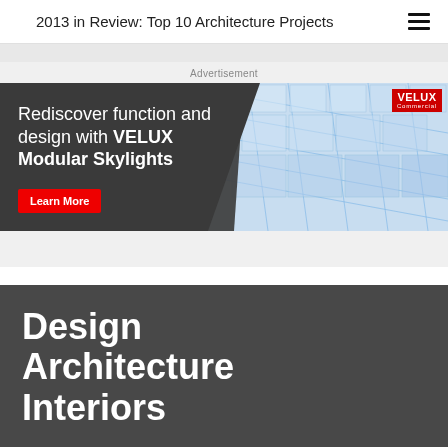2013 in Review: Top 10 Architecture Projects
Advertisement
[Figure (illustration): VELUX Commercial advertisement banner. Left side dark charcoal background with white text: 'Rediscover function and design with VELUX Modular Skylights' and a red 'Learn More' button. Right side shows a blue-tinted architectural rendering of a grid skylight ceiling viewed from below. VELUX Commercial logo badge in top-right corner.]
Design
Architecture
Interiors